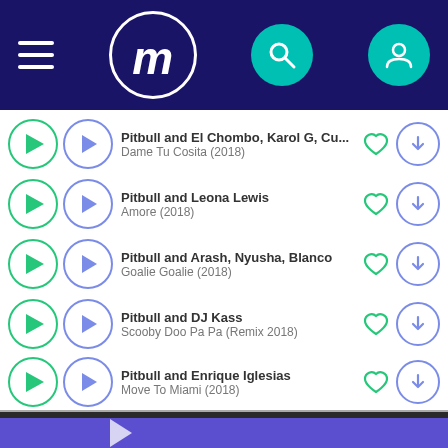[Figure (screenshot): App header with hamburger menu, circular M logo, teal search icon, and teal user account icon on dark navy background]
Pitbull and El Chombo, Karol G, Cu... / Dame Tu Cosita (2018)
Pitbull and Leona Lewis / Amore (2018)
Pitbull and Arash, Nyusha, Blanco / Goalie Goalie (2018)
Pitbull and DJ Kass / Scooby Doo Pa Pa (Remix 2018)
Pitbull and Enrique Iglesias / Move To Miami (2018)
[Figure (screenshot): Purple player bar at bottom with white play triangle icon]